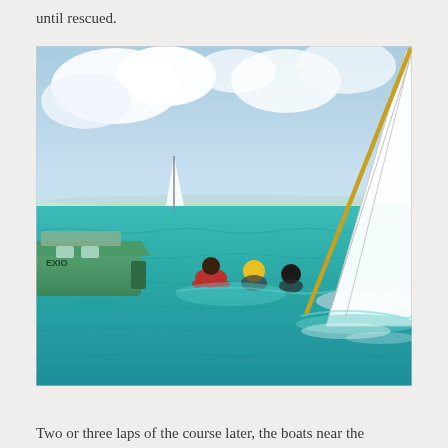until rescued.
[Figure (photo): A sailboat capsizing in turquoise ocean water. The white sail and mast are tilting sharply into the water on the right side of the image. Several people are visible in the water. A green motorboat labeled 'EXIO' is visible on the left. Cloudy blue sky and a distant shoreline are visible in the background.]
Two or three laps of the course later, the boats near the